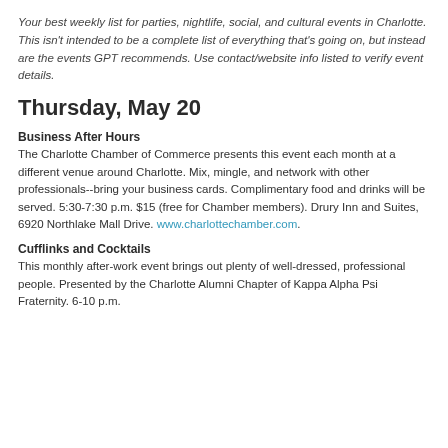Your best weekly list for parties, nightlife, social, and cultural events in Charlotte. This isn't intended to be a complete list of everything that's going on, but instead are the events GPT recommends. Use contact/website info listed to verify event details.
Thursday, May 20
Business After Hours
The Charlotte Chamber of Commerce presents this event each month at a different venue around Charlotte. Mix, mingle, and network with other professionals--bring your business cards. Complimentary food and drinks will be served. 5:30-7:30 p.m. $15 (free for Chamber members). Drury Inn and Suites, 6920 Northlake Mall Drive. www.charlottechamber.com.
Cufflinks and Cocktails
This monthly after-work event brings out plenty of well-dressed, professional people. Presented by the Charlotte Alumni Chapter of Kappa Alpha Psi Fraternity. 6-10 p.m.